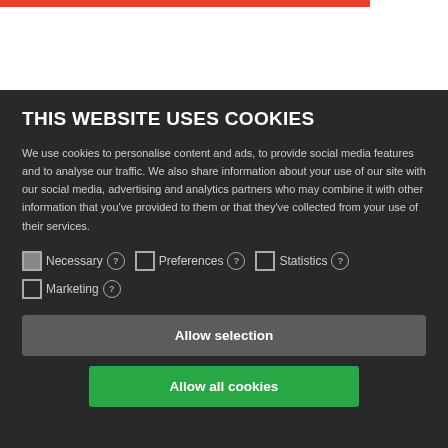THIS WEBSITE USES COOKIES
We use cookies to personalise content and ads, to provide social media features and to analyse our traffic. We also share information about your use of our site with our social media, advertising and analytics partners who may combine it with other information that you’ve provided to them or that they’ve collected from your use of their services.
Necessary ? Preferences ? Statistics ? Marketing ?
Allow selection
Allow all cookies
CONTACT UNIAVISEN
Universitetsavisen
Nørregade 10
1165 København K
Tlf.:
E-mail: uni-avis@adm.ku.dk
ABOUT UNIAVISEN
University Post is the critical, independent newspaper for students and employees of University of Copenhagen and anyone else who wishes to